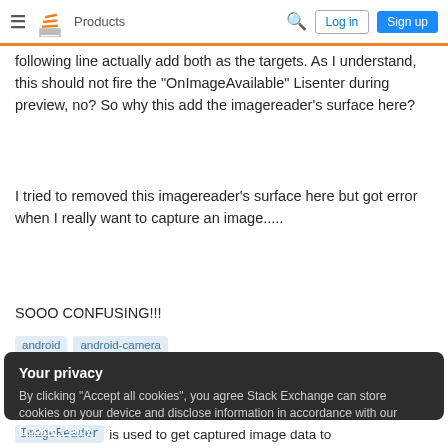≡  [Stack Overflow logo]  Products  🔍  Log in  Sign up
following line actually add both as the targets. As I understand, this should not fire the "OnImageAvailable" Lisenter during preview, no? So why this add the imagereader's surface here?
I tried to removed this imagereader's surface here but got error when I really want to capture an image.....
SOOO CONFUSING!!!
android
android-camera
Your privacy
By clicking "Accept all cookies", you agree Stack Exchange can store cookies on your device and disclose information in accordance with our Cookie Policy.
[Accept all cookies]  [Customize settings]
ImageReader  is used to get captured image data to